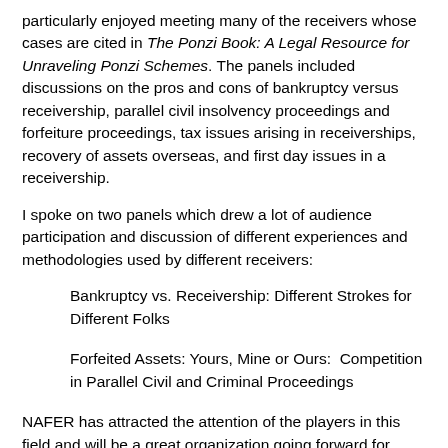particularly enjoyed meeting many of the receivers whose cases are cited in The Ponzi Book: A Legal Resource for Unraveling Ponzi Schemes. The panels included discussions on the pros and cons of bankruptcy versus receivership, parallel civil insolvency proceedings and forfeiture proceedings, tax issues arising in receiverships, recovery of assets overseas, and first day issues in a receivership.
I spoke on two panels which drew a lot of audience participation and discussion of different experiences and methodologies used by different receivers:
Bankruptcy vs. Receivership: Different Strokes for Different Folks
Forfeited Assets: Yours, Mine or Ours:  Competition in Parallel Civil and Criminal Proceedings
NAFER has attracted the attention of the players in this field and will be a great organization going forward for educational content for federal equity receivers and a forum for networking and sharing ideas of what does and doesn't work